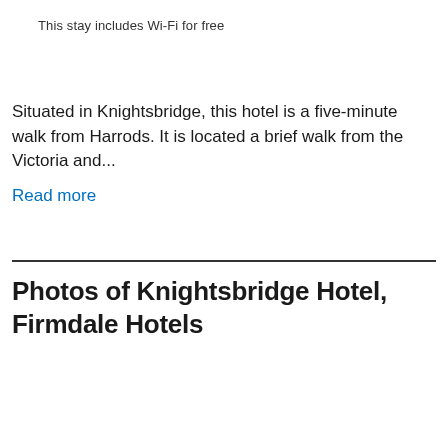This stay includes Wi-Fi for free
Situated in Knightsbridge, this hotel is a five-minute walk from Harrods. It is located a brief walk from the Victoria and...
Read more
Photos of Knightsbridge Hotel, Firmdale Hotels